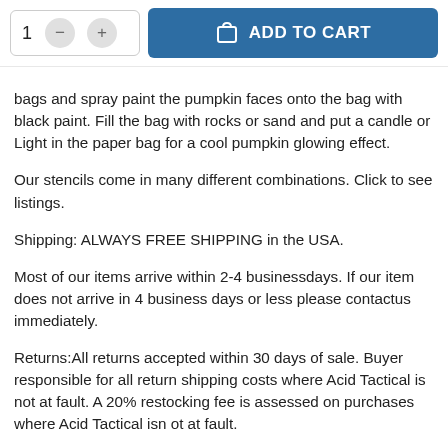[Figure (screenshot): Add to cart UI with quantity selector (showing 1, minus and plus buttons) and a blue ADD TO CART button with shopping bag icon]
bags and spray paint the pumpkin faces onto the bag with black paint.  Fill the bag with rocks or sand and put a candle or Light in the paper bag for a cool pumpkin glowing effect.
Our stencils come in many different combinations.   Click to see listings.
Shipping: ALWAYS FREE SHIPPING in the USA.
Most of our items arrive within 2-4 businessdays.   If our item does not arrive in 4 business days or less please contactus immediately.
Returns:All returns accepted within 30 days of sale.  Buyer responsible for all return shipping costs where Acid Tactical is not at fault. A 20% restocking fee is assessed on purchases where Acid Tactical isn ot at fault.
If you have a problem with an item, please contact us. We are a small company, we are human, we occasionally make mistakes.  USPS occasionally misdirects packages. Give us the chance to correct any problems by messaging us first. We accept all major credit cards with direct checkout. Paypal is